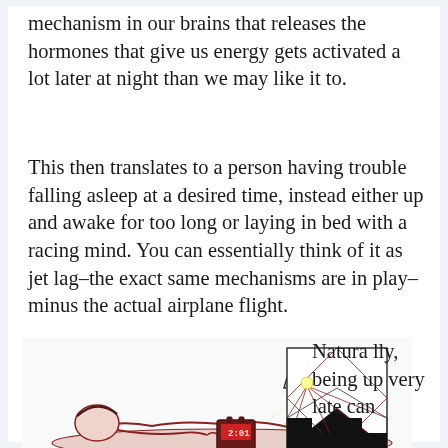mechanism in our brains that releases the hormones that give us energy gets activated a lot later at night than we may like it to.
This then translates to a person having trouble falling asleep at a desired time, instead either up and awake for too long or laying in bed with a racing mind. You can essentially think of it as jet lag–the exact same mechanisms are in play–minus the actual airplane flight.
[Figure (illustration): Illustration showing a person lying in bed with a clock/alarm reading late time, next to a lamp or light source with geometric lines suggesting night ambiance.]
Naturally, being up very late can